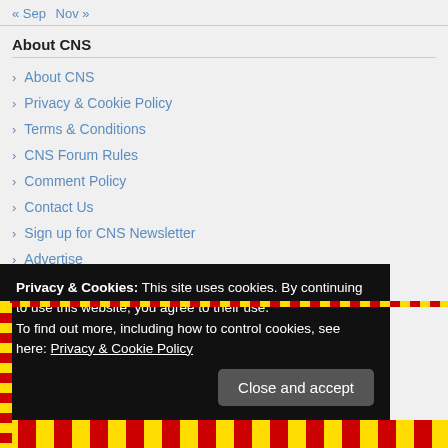« Sep  Nov »
About CNS
About CNS
Privacy & Cookie Policy
Terms & Conditions
CNS Forum Rules
Comment Policy
Contact Us
Sign up for CNS Newsletter
Advertise
Privacy & Cookies: This site uses cookies. By continuing to use this website, you agree to their use.
To find out more, including how to control cookies, see here: Privacy & Cookie Policy
Close and accept